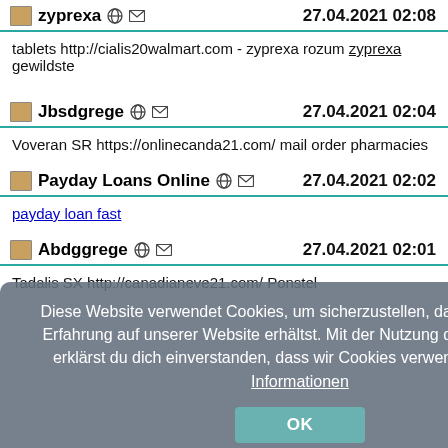zyprexa  27.04.2021 02:08
tablets http://cialis20walmart.com - zyprexa rozum zyprexa gewildste
Jbsdgrege  27.04.2021 02:04
Voveran SR https://onlinecanda21.com/ mail order pharmacies
Payday Loans Online  27.04.2021 02:02
payday loan fast
[Figure (screenshot): Cookie consent overlay dialog with text in German: 'Diese Website verwendet Cookies, um sicherzustellen, dass du die beste Erfahrung auf unserer Website erhältst. Mit der Nutzung dieser Webseite erklärst du dich einverstanden, dass wir Cookies verwenden. Weitere Informationen' and an OK button.]
Abdggrege  27.04.2021 02:01
Tadalis SX http://canadianeve21.com/ Ponstel